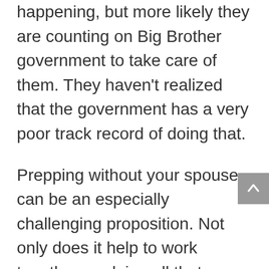happening, but more likely they are counting on Big Brother government to take care of them. They haven't realized that the government has a very poor track record of doing that.
Prepping without your spouse can be an especially challenging proposition. Not only does it help to work together on doing all that needs to be done, but there's the problem of money.
Spending money on stockpiling food